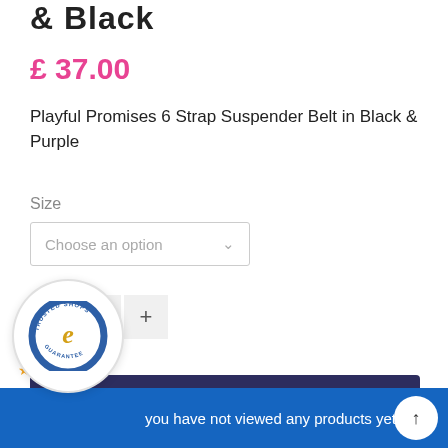& Black
£ 37.00
Playful Promises 6 Strap Suspender Belt in Black & Purple
Size
Choose an option
1
Buy now
— OR —
[Figure (logo): Trusted Shops e Guarantee badge, circular logo with gold stars rating 4.90]
4.90
you have not viewed any products yet.....